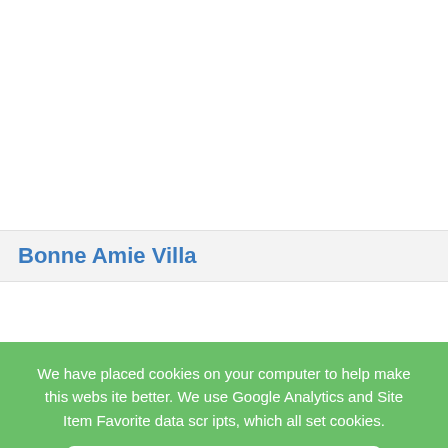Bonne Amie Villa
We have placed cookies on your computer to help make this website better. We use Google Analytics and Site Item Favorite data scripts, which all set cookies.
Do not show this message again